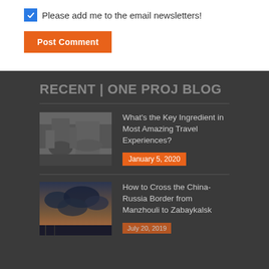Please add me to the email newsletters!
Post Comment
RECENT | ONE PROJ BLOG
[Figure (photo): Black and white photo of a bull run or cattle event with people and animals in motion]
What's the Key Ingredient in Most Amazing Travel Experiences?
January 5, 2020
[Figure (photo): Photo of a dramatic cloudy sky at sunset or dusk]
How to Cross the China-Russia Border from Manzhouli to Zabaykalsk